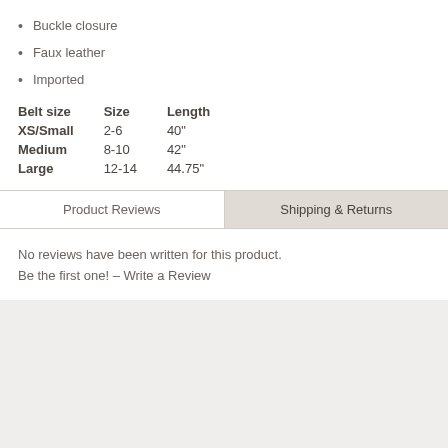Buckle closure
Faux leather
Imported
| Belt size | Size | Length |
| --- | --- | --- |
| XS/Small | 2-6 | 40" |
| Medium | 8-10 | 42" |
| Large | 12-14 | 44.75" |
Product Reviews | Shipping & Returns
No reviews have been written for this product.
Be the first one!  – Write a Review